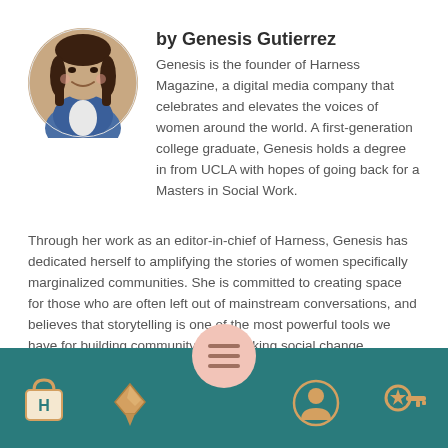[Figure (photo): Circular portrait photo of Genesis Gutierrez, a young woman smiling, wearing a blue top.]
by Genesis Gutierrez
Genesis is the founder of Harness Magazine, a digital media company that celebrates and elevates the voices of women around the world. A first-generation college graduate, Genesis holds a degree in from UCLA with hopes of going back for a Masters in Social Work.
Through her work as an editor-in-chief of Harness, Genesis has dedicated herself to amplifying the stories of women specifically marginalized communities. She is committed to creating space for those who are often left out of mainstream conversations, and believes that storytelling is one of the most powerful tools we have for building community and sparking social change.
[Figure (infographic): Teal bottom navigation bar with five icons: a shopping bag with H, a pen/nib, a center circular menu button with three lines on a pink circle, a person/profile icon in a circle, and a key with a star.]